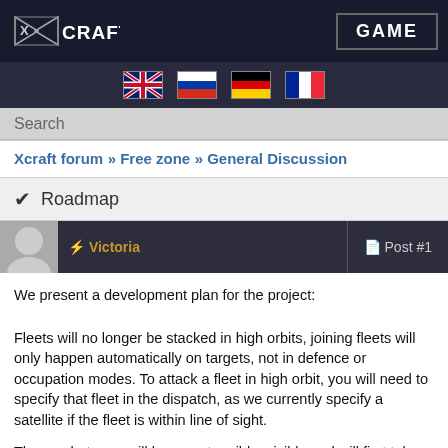XCRAFT | GAME
[Figure (illustration): Language selector flags: UK (English), Russia, Germany, France]
Search
Xcraft forum » Free zone » General Discussion
✔ Roadmap
Victoria — Post #1
We present a development plan for the project:
Fleets will no longer be stacked in high orbits, joining fleets will only happen automatically on targets, not in defence or occupation modes. To attack a fleet in high orbit, you will need to specify that fleet in the dispatch, as we currently specify a satellite if the fleet is within line of sight.
The combat area will become tangible, visible and will first take place in combat system 4, but then in the developing and fully three-dimensional combat system 5.